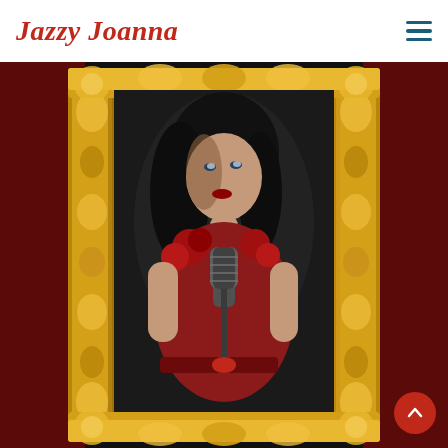Jazzy Joanna
[Figure (photo): A glamorous woman with long dark hair, wearing a red rose-adorned dress, holding a vintage microphone, portrait shot in a gold ornate frame against a dark background with red flanking sides. Website header image for Jazzy Joanna.]